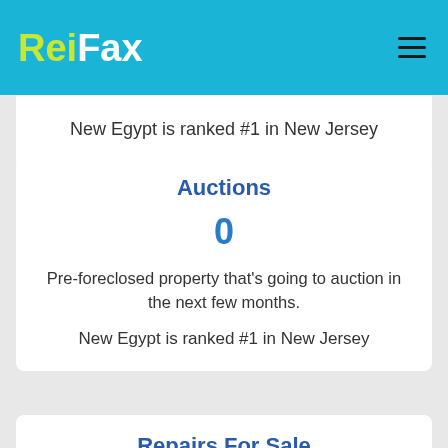ReiFax
New Egypt is ranked #1 in New Jersey
Auctions
0
Pre-foreclosed property that's going to auction in the next few months.
New Egypt is ranked #1 in New Jersey
Repairs For Sale
0